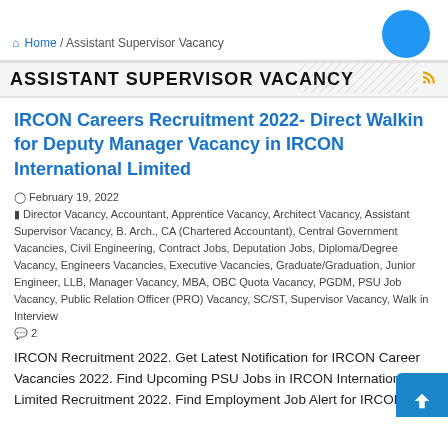Home / Assistant Supervisor Vacancy
ASSISTANT SUPERVISOR VACANCY
IRCON Careers Recruitment 2022- Direct Walkin for Deputy Manager Vacancy in IRCON International Limited
February 19, 2022
Director Vacancy, Accountant, Apprentice Vacancy, Architect Vacancy, Assistant Supervisor Vacancy, B. Arch., CA (Chartered Accountant), Central Government Vacancies, Civil Engineering, Contract Jobs, Deputation Jobs, Diploma/Degree Vacancy, Engineers Vacancies, Executive Vacancies, Graduate/Graduation, Junior Engineer, LLB, Manager Vacancy, MBA, OBC Quota Vacancy, PGDM, PSU Job Vacancy, Public Relation Officer (PRO) Vacancy, SC/ST, Supervisor Vacancy, Walk in Interview
2
IRCON Recruitment 2022. Get Latest Notification for IRCON Career Vacancies 2022. Find Upcoming PSU Jobs in IRCON International Limited Recruitment 2022. Find Employment Job Alert for IRCON